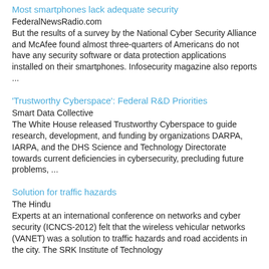Most smartphones lack adequate security
FederalNewsRadio.com
But the results of a survey by the National Cyber Security Alliance and McAfee found almost three-quarters of Americans do not have any security software or data protection applications installed on their smartphones. Infosecurity magazine also reports ...
'Trustworthy Cyberspace': Federal R&D Priorities
Smart Data Collective
The White House released Trustworthy Cyberspace to guide research, development, and funding by organizations DARPA, IARPA, and the DHS Science and Technology Directorate towards current deficiencies in cybersecurity, precluding future problems, ...
Solution for traffic hazards
The Hindu
Experts at an international conference on networks and cyber security (ICNCS-2012) felt that the wireless vehicular networks (VANET) was a solution to traffic hazards and road accidents in the city. The SRK Institute of Technology